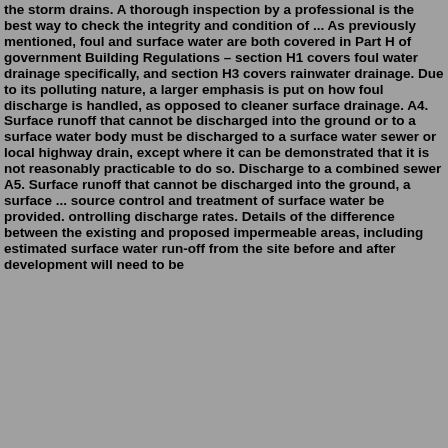the storm drains. A thorough inspection by a professional is the best way to check the integrity and condition of ... As previously mentioned, foul and surface water are both covered in Part H of government Building Regulations – section H1 covers foul water drainage specifically, and section H3 covers rainwater drainage. Due to its polluting nature, a larger emphasis is put on how foul discharge is handled, as opposed to cleaner surface drainage. A4. Surface runoff that cannot be discharged into the ground or to a surface water body must be discharged to a surface water sewer or local highway drain, except where it can be demonstrated that it is not reasonably practicable to do so. Discharge to a combined sewer A5. Surface runoff that cannot be discharged into the ground, a surface ... source control and treatment of surface water be provided. ontrolling discharge rates. Details of the difference between the existing and proposed impermeable areas, including estimated surface water run-off from the site before and after development will need to be